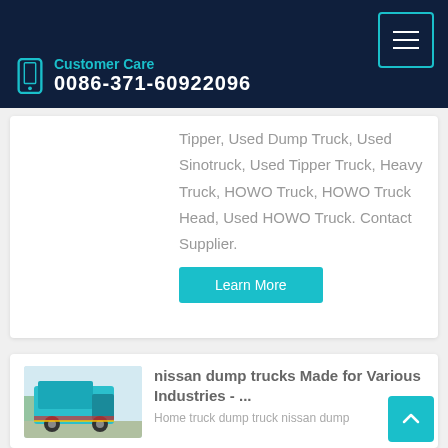Customer Care 0086-371-60922096
Tipper, Used Dump Truck, Used Sinotruck, Used Tipper Truck, Heavy Truck, HOWO Truck, HOWO Truck Head, Used HOWO Truck. Contact Supplier.
Learn More
[Figure (photo): A teal/blue dump truck seen from the rear-side, parked outdoors]
nissan dump trucks Made for Various Industries - ...
Home truck dump truck nissan dump